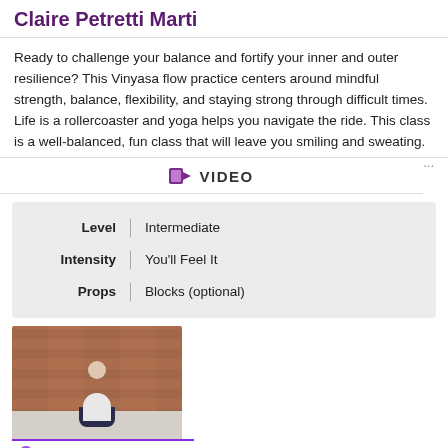Claire Petretti Marti
Ready to challenge your balance and fortify your inner and outer resilience? This Vinyasa flow practice centers around mindful strength, balance, flexibility, and staying strong through difficult times. Life is a rollercoaster and yoga helps you navigate the ride. This class is a well-balanced, fun class that will leave you smiling and sweating.
VIDEO
| Field | Value |
| --- | --- |
| Level | Intermediate |
| Intensity | You'll Feel It |
| Props | Blocks (optional) |
[Figure (photo): Person sitting cross-legged in a yoga meditation pose against a brick wall background. Below the photo is a 'Yoga Download' label with a flower icon.]